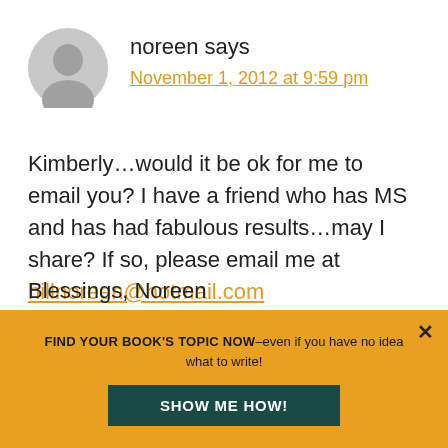[Figure (illustration): Gray circular avatar/profile icon with silhouette of a person]
noreen says
November 1, 2012 at 9:59 pm
Kimberly…would it be ok for me to email you? I have a friend who has MS and has had fabulous results…may I share? If so, please email me at hillnoreen@hotmail.com
Blessings, Noreen
Reply
FIND YOUR BOOK'S TOPIC NOW–even if you have no idea what to write!
SHOW ME HOW!